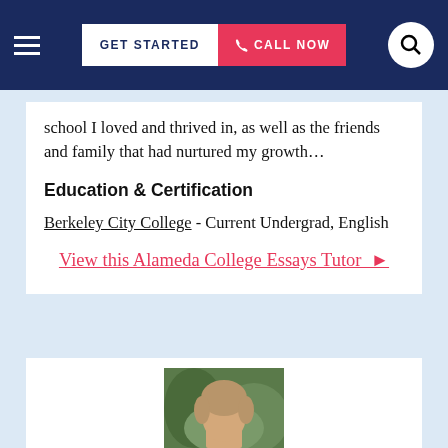GET STARTED | CALL NOW
school I loved and thrived in, as well as the friends and family that had nurtured my growth…
Education & Certification
Berkeley City College - Current Undergrad, English
View this Alameda College Essays Tutor ▶
[Figure (photo): Profile photo of a person with light brown/blonde hair, outdoors with green background]